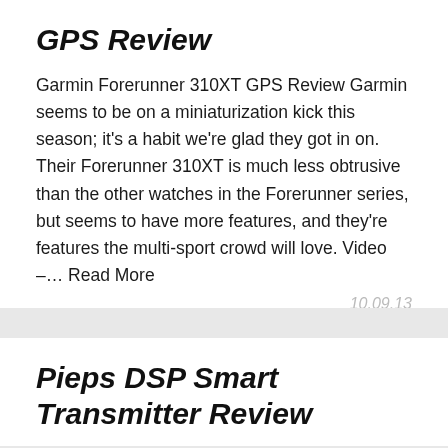GPS Review
Garmin Forerunner 310XT GPS Review Garmin seems to be on a miniaturization kick this season; it's a habit we're glad they got in on. Their Forerunner 310XT is much less obtrusive than the other watches in the Forerunner series, but seems to have more features, and they're features the multi-sport crowd will love. Video –… Read More
10.09.13
Pieps DSP Smart Transmitter Review